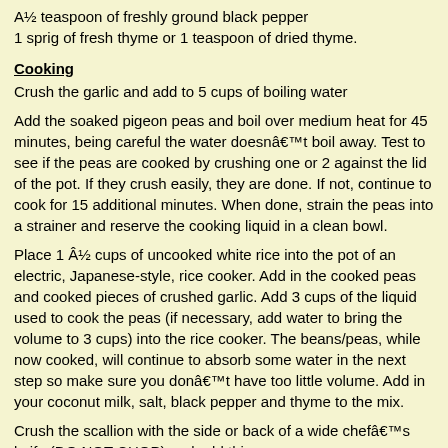A½ teaspoon of freshly ground black pepper
1 sprig of fresh thyme or 1 teaspoon of dried thyme.
Cooking
Crush the garlic and add to 5 cups of boiling water
Add the soaked pigeon peas and boil over medium heat for 45 minutes, being careful the water doesnât boil away. Test to see if the peas are cooked by crushing one or 2 against the lid of the pot. If they crush easily, they are done. If not, continue to cook for 15 additional minutes. When done, strain the peas into a strainer and reserve the cooking liquid in a clean bowl.
Place 1 Â½ cups of uncooked white rice into the pot of an electric, Japanese-style, rice cooker. Add in the cooked peas and cooked pieces of crushed garlic. Add 3 cups of the liquid used to cook the peas (if necessary, add water to bring the volume to 3 cups) into the rice cooker. The beans/peas, while now cooked, will continue to absorb some water in the next step so make sure you donât have too little volume. Add in your coconut milk, salt, black pepper and thyme to the mix.
Crush the scallion with the side or back of a wide chefâs knife (DO NOT CHOP) and add this.
Add the uncut scotch bonnet pepper, nb - the pepper remains uncut so as to not make the rice spicy, just give it a subtle peppery flavor.